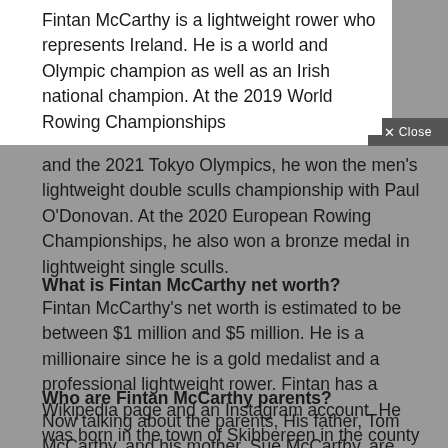Fintan McCarthy is a lightweight rower who represents Ireland. He is a world and Olympic champion as well as an Irish national champion. At the 2019 World Rowing Championships and the 2021 Tokyo Olympics, he won the men's lightweight double sculls championship with Paul O'Donovan. At the 2020 European Rowing Championships, he also won a bronze medal in lightweight single sculls.
What is Fintan McCarthy net worth?
Fintan McCarthy's net worth is estimated to be between $1 million and $5 million. He is a millionaire since he is a gold medalist and a professional lightweight rower. Fintan has a Wikipedia page and an Instagram account. He was born in the town of Skibbereen in the county of Cork.
Who are Fintan McCarthy parents?
Now talking about the parents, His father, Tom McCarthy, and his mother, Sue McCarthy, are Fintan's parents. His parents